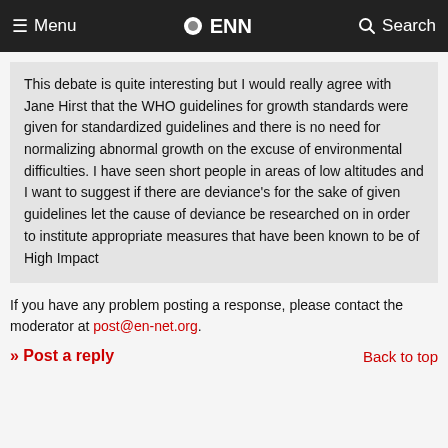Menu  ENN  Search
This debate is quite interesting but I would really agree with Jane Hirst that the WHO guidelines for growth standards were given for standardized guidelines and there is no need for normalizing abnormal growth on the excuse of environmental difficulties. I have seen short people in areas of low altitudes and I want to suggest if there are deviance's for the sake of given guidelines let the cause of deviance be researched on in order to institute appropriate measures that have been known to be of High Impact
If you have any problem posting a response, please contact the moderator at post@en-net.org.
» Post a reply
Back to top
About us